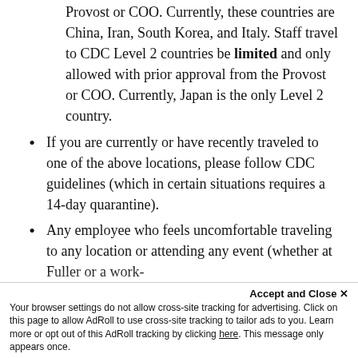Provost or COO. Currently, these countries are China, Iran, South Korea, and Italy. Staff travel to CDC Level 2 countries be limited and only allowed with prior approval from the Provost or COO. Currently, Japan is the only Level 2 country.
If you are currently or have recently traveled to one of the above locations, please follow CDC guidelines (which in certain situations requires a 14-day quarantine).
Any employee who feels uncomfortable traveling to any location or attending any event (whether at Fuller or a work-related event elsewhere, extern...
Accept and Close ×
Your browser settings do not allow cross-site tracking for advertising. Click on this page to allow AdRoll to use cross-site tracking to tailor ads to you. Learn more or opt out of this AdRoll tracking by clicking here. This message only appears once.